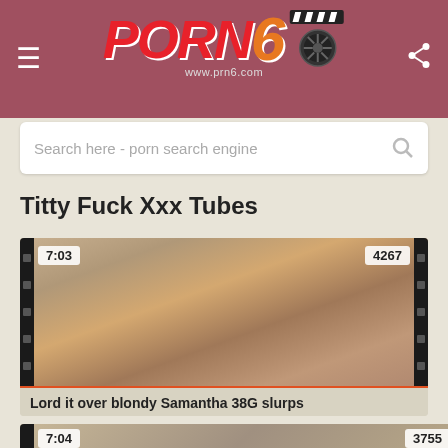[Figure (screenshot): Porn6 website header with logo, hamburger menu, share icon on dark red/mauve background]
Search here - porn search engine
Titty Fuck Xxx Tubes
[Figure (photo): Video thumbnail showing adult content, time badge 7:03, view count 4267]
Lord it over blondy Samantha 38G slurps
[Figure (photo): Second video thumbnail, time badge 7:04, view count 3755, partial view]